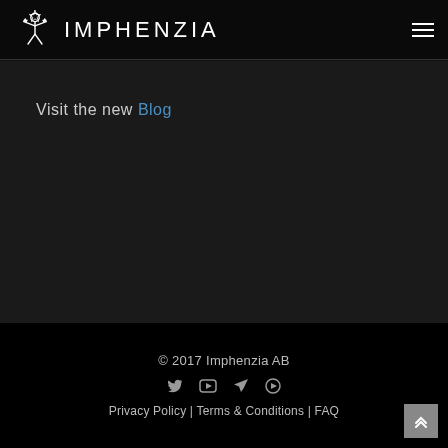IMPHENZIA
Visit the new Blog
© 2017 Imphenzia AB | Privacy Policy | Terms & Conditions | FAQ